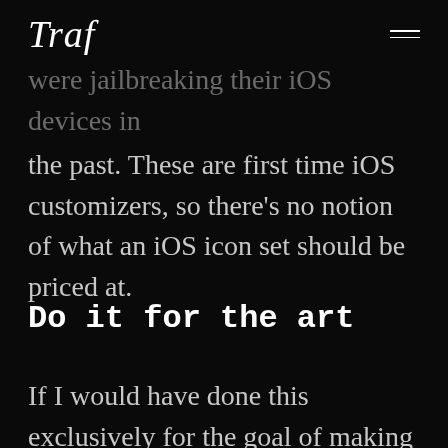Traf
were jailbreaking their iOS devices in the past. These are first time iOS customizers, so there's no notion of what an iOS icon set should be priced at.
Do it for the art
If I would have done this exclusively for the goal of making money, I'm